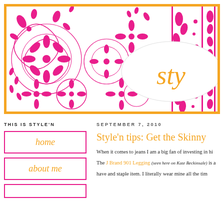[Figure (illustration): Blog header banner with decorative pink floral/paisley pattern on white background, orange border frame, and an oval shape with 'sty' text in orange on the right side.]
THIS IS STYLE'N
home
about me
SEPTEMBER 7, 2010
Style'n tips: Get the Skinny
When it comes to jeans I am a big fan of investing in hi... The J Brand 901 Legging (seen here on Kate Beckinsale) is a... have and staple item. I literally wear mine all the tim...